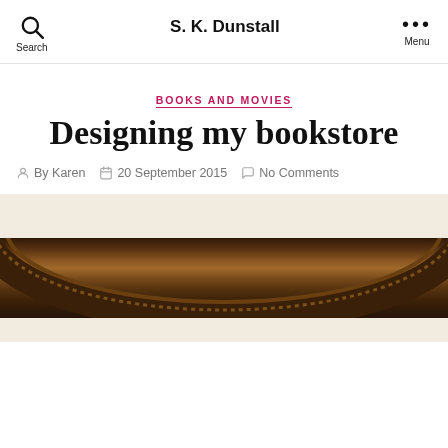S. K. Dunstall
BOOKS AND MOVIES
Designing my bookstore
By Karen  20 September 2015  No Comments
[Figure (photo): Bottom portion of a circular wooden frame or decorative arch with cream/beige background above and below]